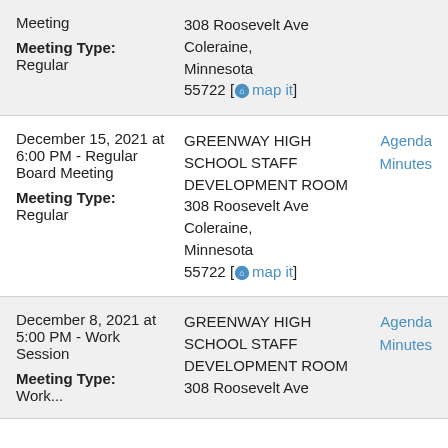| Date/Type | Location | Links |
| --- | --- | --- |
| Meeting
Meeting Type:
Regular | GREENWAY HIGH SCHOOL STAFF DEVELOPMENT ROOM
308 Roosevelt Ave
Coleraine, Minnesota 55722 [map it] |  |
| December 15, 2021 at 6:00 PM - Regular Board Meeting
Meeting Type:
Regular | GREENWAY HIGH SCHOOL STAFF DEVELOPMENT ROOM
308 Roosevelt Ave
Coleraine, Minnesota 55722 [map it] | Agenda
Minutes |
| December 8, 2021 at 5:00 PM - Work Session
Meeting Type:
Work... | GREENWAY HIGH SCHOOL STAFF DEVELOPMENT ROOM
308 Roosevelt Ave | Agenda
Minutes |